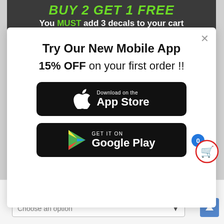[Figure (screenshot): E-commerce website screenshot showing a promotional banner at the top reading 'BUY 2 GET 1 FREE - You MUST add 3 decals to your cart', a modal popup promoting a mobile app with '15% OFF on your first order !!', App Store and Google Play download buttons, a shopping cart widget, and a 'Select Color' dropdown at the bottom.]
BUY 2 GET 1 FREE
You MUST add 3 decals to your cart
Try Our New Mobile App
15% OFF on your first order !!
Download on the App Store
GET IT ON Google Play
Select Color -